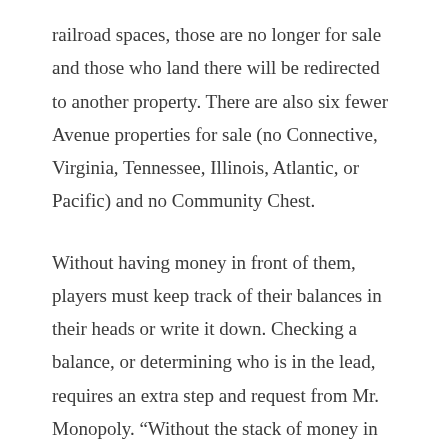railroad spaces, those are no longer for sale and those who land there will be redirected to another property. There are also six fewer Avenue properties for sale (no Connective, Virginia, Tennessee, Illinois, Atlantic, or Pacific) and no Community Chest.
Without having money in front of them, players must keep track of their balances in their heads or write it down. Checking a balance, or determining who is in the lead, requires an extra step and request from Mr. Monopoly. “Without the stack of money in front of them, even the best of Monopoly players will need to find new ways to strategize to own it all and win the game,” Boswinkel told INSIDER.
Those who have played Monopoly for decades now must